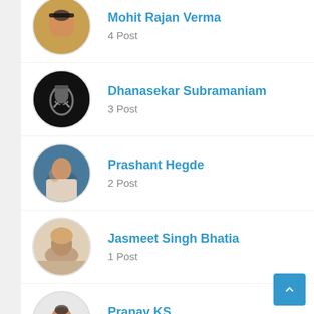Mohit Rajan Verma
4 Post
Dhanasekar Subramaniam
3 Post
Prashant Hegde
2 Post
Jasmeet Singh Bhatia
1 Post
Pranav KS
4 Post
Test Maniac